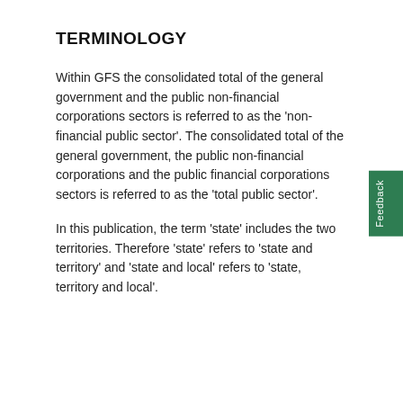TERMINOLOGY
Within GFS the consolidated total of the general government and the public non-financial corporations sectors is referred to as the 'non-financial public sector'. The consolidated total of the general government, the public non-financial corporations and the public financial corporations sectors is referred to as the 'total public sector'.
In this publication, the term 'state' includes the two territories. Therefore 'state' refers to 'state and territory' and 'state and local' refers to 'state, territory and local'.